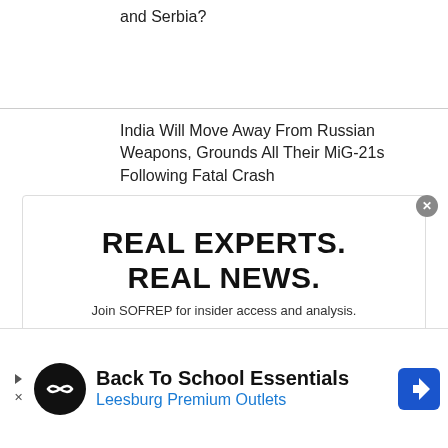and Serbia?
India Will Move Away From Russian Weapons, Grounds All Their MiG-21s Following Fatal Crash
[Figure (infographic): Promotional box for SOFREP with large bold text 'REAL EXPERTS. REAL NEWS.' and subtext 'Join SOFREP for insider access and analysis.' with an orange button below.]
[Figure (infographic): Advertisement banner for 'Back To School Essentials - Leesburg Premium Outlets' with a black circular logo with chain-link symbol, play/close icons on the left, and a blue navigation sign icon on the right.]